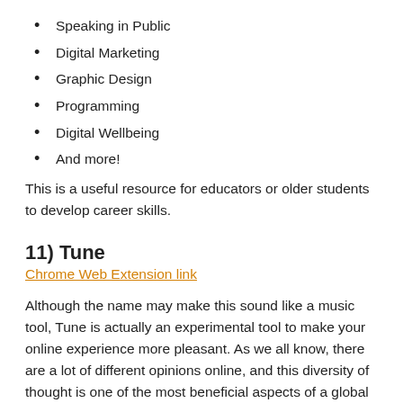Speaking in Public
Digital Marketing
Graphic Design
Programming
Digital Wellbeing
And more!
This is a useful resource for educators or older students to develop career skills.
11) Tune
Chrome Web Extension link
Although the name may make this sound like a music tool, Tune is actually an experimental tool to make your online experience more pleasant. As we all know, there are a lot of different opinions online, and this diversity of thought is one of the most beneficial aspects of a global community.